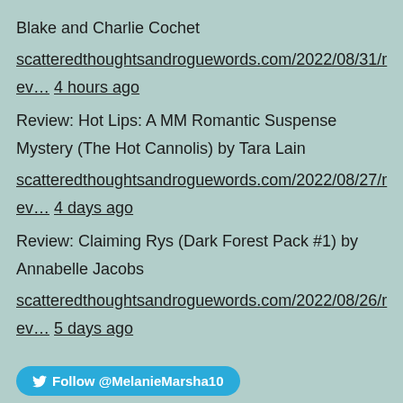Blake and Charlie Cochet
scatteredthoughtsandroguewords.com/2022/08/31/rev… 4 hours ago
Review: Hot Lips: A MM Romantic Suspense Mystery (The Hot Cannolis) by Tara Lain
scatteredthoughtsandroguewords.com/2022/08/27/rev… 4 days ago
Review: Claiming Rys (Dark Forest Pack #1) by Annabelle Jacobs
scatteredthoughtsandroguewords.com/2022/08/26/rev… 5 days ago
Follow @MelanieMarsha10